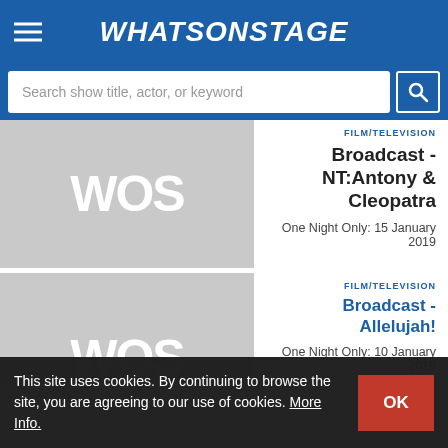WhatsOnStage
Search show title, actor, or keyword
[Figure (logo): WOS placeholder image (grey background with white WOS text)]
FILM/TELEVISION
Broadcast - NT:Antony & Cleopatra
One Night Only: 15 January 2019
[Figure (logo): WOS placeholder image (grey background with white WOS text)]
FILM/TELEVISION
Broadcast - Allelujah!
One Night Only: 10 January 2019
This site uses cookies. By continuing to browse the site, you are agreeing to our use of cookies. More Info.